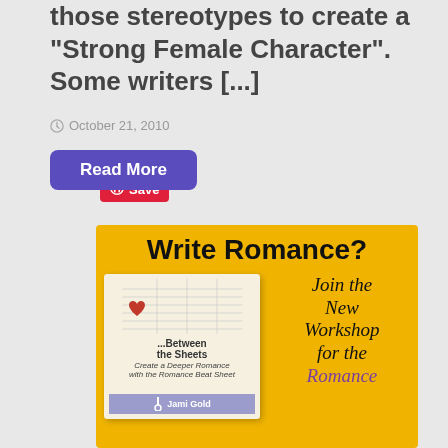those stereotypes to create a "Strong Female Character". Some writers [...]
[Figure (other): Pinterest Save button (red, with Pinterest logo)]
October 21, 2010
Read More
[Figure (infographic): Advertisement banner on golden yellow textured background. Title: 'Write Romance?' Left side: book cover showing '...Between the Sheets - Create a Deeper Romance with the Romance Beat Sheet' with red heart icon and Jami Gold branding. Right side: italic script text 'Join the New Workshop for the Romance' with purple text below.]